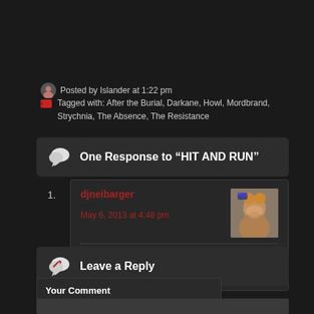Posted by Islander at 1:22 pm
Tagged with: After the Burial, Darkane, Howl, Mordbrand, Strychnia, The Absence, The Resistance
One Response to “HIT AND RUN”
djneibarger says:
May 6, 2013 at 4:48 pm
i dig The Resistance and Strychnia tracks
Leave a Reply
Your Comment